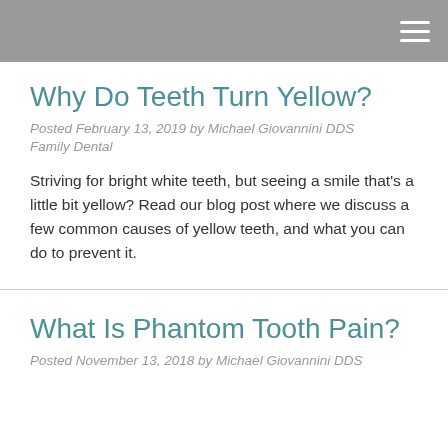Why Do Teeth Turn Yellow?
Posted February 13, 2019 by Michael Giovannini DDS Family Dental
Striving for bright white teeth, but seeing a smile that's a little bit yellow? Read our blog post where we discuss a few common causes of yellow teeth, and what you can do to prevent it.
What Is Phantom Tooth Pain?
Posted November 13, 2018 by Michael Giovannini DDS